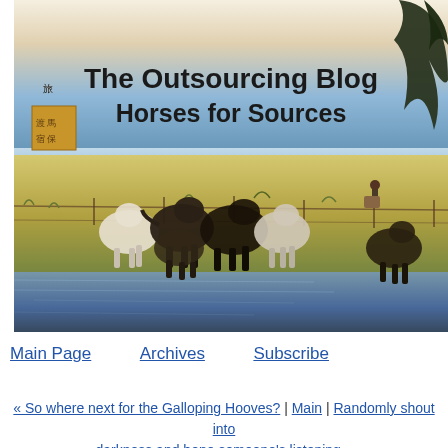[Figure (illustration): Japanese woodblock print style banner image showing horses grazing in a field near water, with a pine tree in the upper right corner. Text overlay reads 'The Outsourcing Blog Horses for Sources'. A red/orange seal stamp and Japanese characters are visible on the left side.]
Main Page   Archives   Subscribe
« So where next for the Galloping Hooves? | Main | Randomly shout into darkness and hope someone's listening »